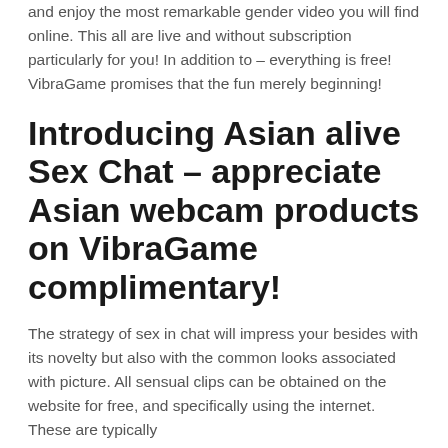and enjoy the most remarkable gender video you will find online. This all are live and without subscription particularly for you! In addition to – everything is free! VibraGame promises that the fun merely beginning!
Introducing Asian alive Sex Chat – appreciate Asian webcam products on VibraGame complimentary!
The strategy of sex in chat will impress your besides with its novelty but also with the common looks associated with picture. All sensual clips can be obtained on the website for free, and specifically using the internet. These are typically